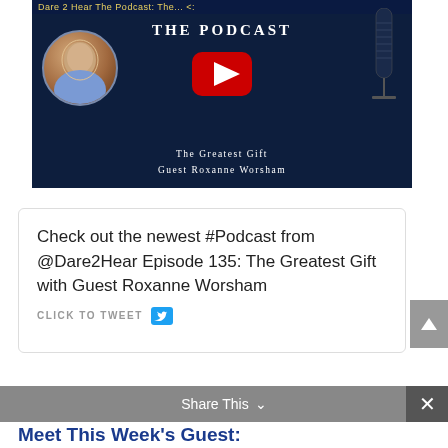[Figure (screenshot): YouTube-style podcast thumbnail with dark navy background, circular photo of a woman (Roxanne Worsham), YouTube play button, title 'The Podcast', subtitle 'The Greatest Gift Guest Roxanne Worsham', and a microphone silhouette on the right.]
Check out the newest #Podcast from @Dare2Hear Episode 135: The Greatest Gift with Guest Roxanne Worsham    CLICK TO TWEET
Share This   ✕